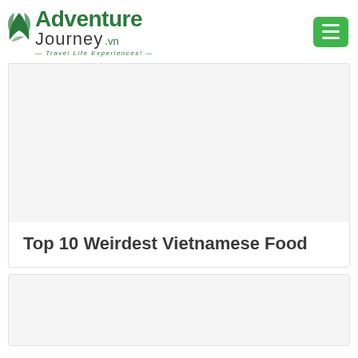Adventure Journey.vn — Travel Life Experiences!
[Figure (screenshot): Hero image placeholder for Top 10 Weirdest Vietnamese Food article]
Top 10 Weirdest Vietnamese Food
[Figure (photo): Second article image placeholder]